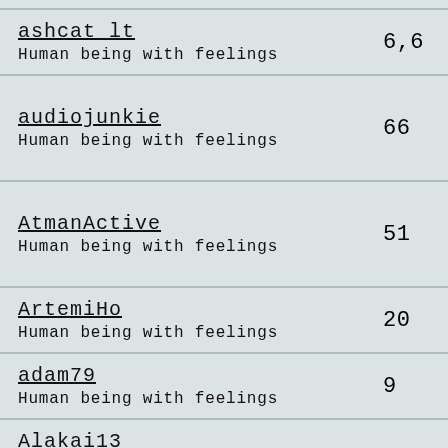| Username / Description | Count |
| --- | --- |
| ashcat_lt
Human being with feelings | 6,6 |
| audiojunkie
Human being with feelings | 66 |
| AtmanActive
Human being with feelings | 51 |
| ArtemiHo
Human being with feelings | 20 |
| adam79
Human being with feelings | 9 |
| Alakai13 |  |